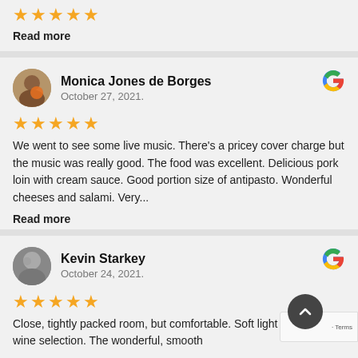[Figure (other): Five gold star rating]
Read more
[Figure (other): Reviewer avatar for Monica Jones de Borges]
Monica Jones de Borges
October 27, 2021.
[Figure (logo): Google G logo]
[Figure (other): Five gold star rating]
We went to see some live music. There's a pricey cover charge but the music was really good. The food was excellent. Delicious pork loin with cream sauce. Good portion size of antipasto. Wonderful cheeses and salami. Very...
Read more
[Figure (other): Reviewer avatar for Kevin Starkey]
Kevin Starkey
October 24, 2021.
[Figure (logo): Google G logo]
[Figure (other): Five gold star rating]
Close, tightly packed room, but comfortable. Soft light exceptional wine selection. The wonderful, smooth